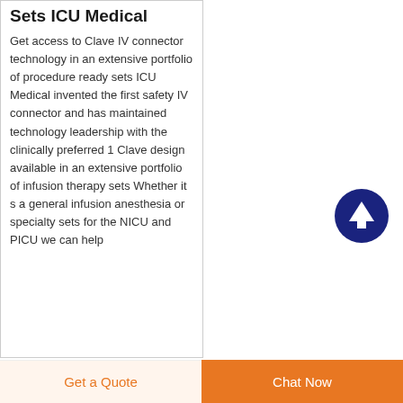Sets ICU Medical
Get access to Clave IV connector technology in an extensive portfolio of procedure ready sets ICU Medical invented the first safety IV connector and has maintained technology leadership with the clinically preferred 1 Clave design available in an extensive portfolio of infusion therapy sets Whether it s a general infusion anesthesia or specialty sets for the NICU and PICU we can help
[Figure (illustration): Dark navy blue circular button with white upward arrow icon, used as a scroll-to-top button]
Get a Quote
Chat Now